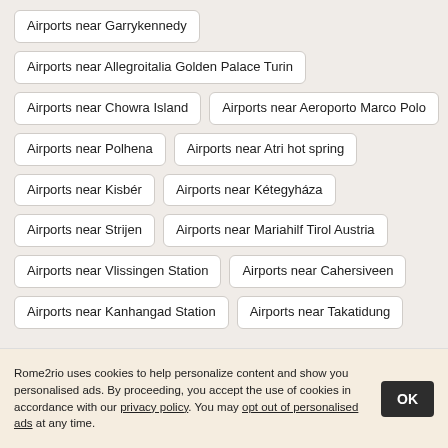Airports near Garrykennedy
Airports near Allegroitalia Golden Palace Turin
Airports near Chowra Island
Airports near Aeroporto Marco Polo
Airports near Polhena
Airports near Atri hot spring
Airports near Kisbér
Airports near Kétegyháza
Airports near Strijen
Airports near Mariahilf Tirol Austria
Airports near Vlissingen Station
Airports near Cahersiveen
Airports near Kanhangad Station
Airports near Takatidung
Rome2rio uses cookies to help personalize content and show you personalised ads. By proceeding, you accept the use of cookies in accordance with our privacy policy. You may opt out of personalised ads at any time.